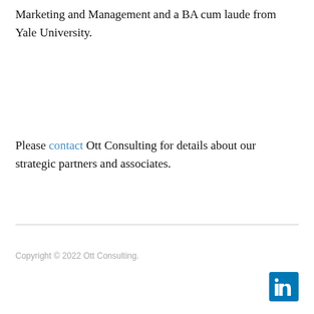Marketing and Management and a BA cum laude from Yale University.
Please contact Ott Consulting for details about our strategic partners and associates.
Copyright © 2022 Ott Consulting.